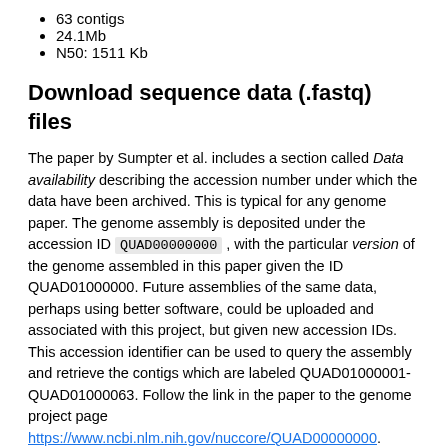63 contigs
24.1Mb
N50: 1511 Kb
Download sequence data (.fastq) files
The paper by Sumpter et al. includes a section called Data availability describing the accession number under which the data have been archived. This is typical for any genome paper. The genome assembly is deposited under the accession ID QUAD00000000 , with the particular version of the genome assembled in this paper given the ID QUAD01000000. Future assemblies of the same data, perhaps using better software, could be uploaded and associated with this project, but given new accession IDs. This accession identifier can be used to query the assembly and retrieve the contigs which are labeled QUAD01000001-QUAD01000063. Follow the link in the paper to the genome project page https://www.ncbi.nlm.nih.gov/nuccore/QUAD00000000. There you can find additional links to the Project accession
There you can find additional links to the Project accession